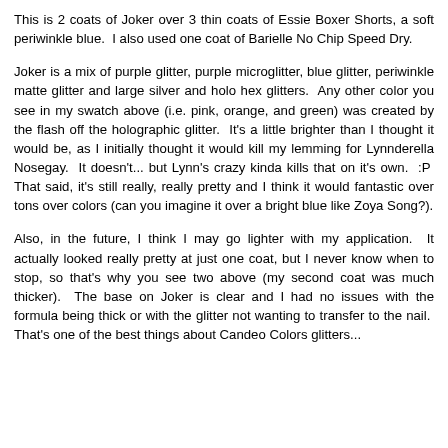This is 2 coats of Joker over 3 thin coats of Essie Boxer Shorts, a soft periwinkle blue.  I also used one coat of Barielle No Chip Speed Dry.
Joker is a mix of purple glitter, purple microglitter, blue glitter, periwinkle matte glitter and large silver and holo hex glitters.  Any other color you see in my swatch above (i.e. pink, orange, and green) was created by the flash off the holographic glitter.  It's a little brighter than I thought it would be, as I initially thought it would kill my lemming for Lynnderella Nosegay.  It doesn't... but Lynn's crazy kinda kills that on it's own.  :P  That said, it's still really, really pretty and I think it would fantastic over tons over colors (can you imagine it over a bright blue like Zoya Song?).
Also, in the future, I think I may go lighter with my application.  It actually looked really pretty at just one coat, but I never know when to stop, so that's why you see two above (my second coat was much thicker).  The base on Joker is clear and I had no issues with the formula being thick or with the glitter not wanting to transfer to the nail.  That's one of the best things about Candeo Colors glitters...